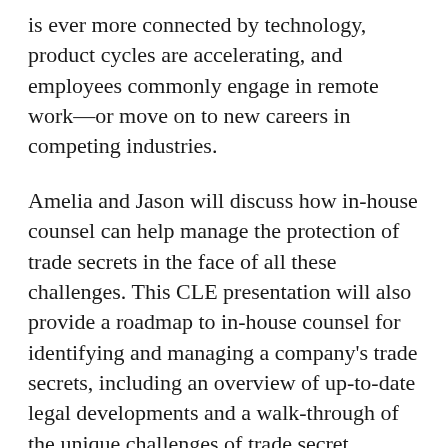is ever more connected by technology, product cycles are accelerating, and employees commonly engage in remote work—or move on to new careers in competing industries.
Amelia and Jason will discuss how in-house counsel can help manage the protection of trade secrets in the face of all these challenges. This CLE presentation will also provide a roadmap to in-house counsel for identifying and managing a company's trade secrets, including an overview of up-to-date legal developments and a walk-through of the unique challenges of trade secret litigation.
Willenken is a proud sponsor of ACC chapters nationwide. If you are interested in learning more about the topic of this presentation, please contact